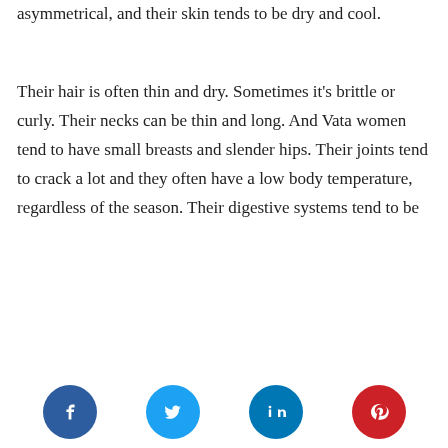asymmetrical, and their skin tends to be dry and cool.
Their hair is often thin and dry. Sometimes it's brittle or curly. Their necks can be thin and long. And Vata women tend to have small breasts and slender hips. Their joints tend to crack a lot and they often have a low body temperature, regardless of the season. Their digestive systems tend to be
[Figure (infographic): Social media share buttons: Facebook (blue circle with f), Twitter (light blue circle with bird), LinkedIn (blue circle with in), Pinterest (red circle with p)]